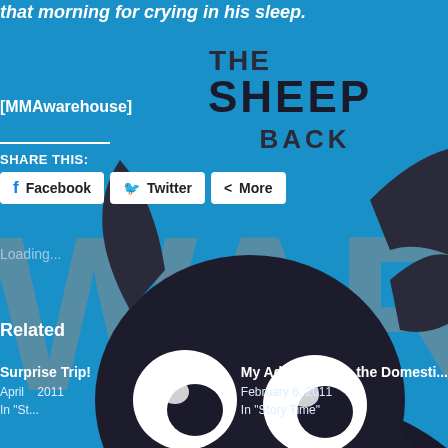[Figure (illustration): Blue background with large gray 'WARE' text watermark, 'THE SHEEP BACK' headline in dark text at top center, and a cartoon black sheep/ram character with glowing eyes in the foreground center-right]
that morning for crying in his sleep.
[MMAwarehouse]
...I'M BACK...
SHARE THIS:
Facebook
Twitter
More
Loading...
Related
Surprise Trip!
April 2011
In "St..."
My Adventure as the Domesti...
February 6, 2011
In "Story Time"